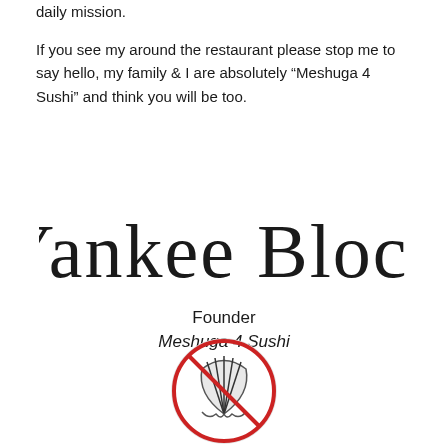daily mission.
If you see my around the restaurant please stop me to say hello, my family & I are absolutely “Meshuga 4 Sushi” and think you will be too.
[Figure (illustration): Handwritten cursive signature reading 'Yankee Bloch']
Founder
Meshuga 4 Sushi
[Figure (logo): Circular logo with a scallop shell and a red prohibition cross through it, representing no shellfish or similar branding for Meshuga 4 Sushi]